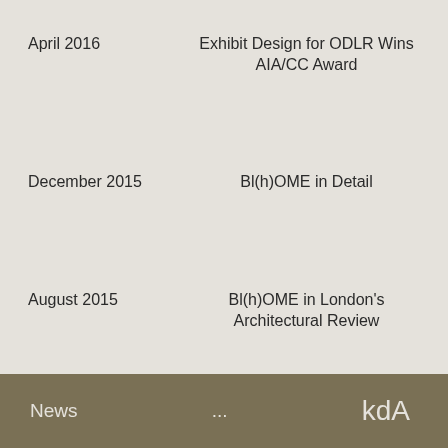April 2016
Exhibit Design for ODLR Wins AIA/CC Award
December 2015
Bl(h)OME in Detail
August 2015
Bl(h)OME in London's Architectural Review
News  ...  kdA